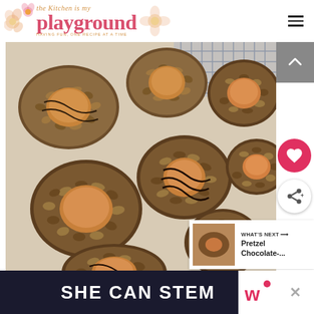the kitchen is my playground
[Figure (photo): Top-down photo of turtle thumbprint cookies covered in chopped nuts with caramel centers and chocolate drizzle, arranged on parchment paper on a baking sheet.]
WHAT'S NEXT → Pretzel Chocolate-...
SHE CAN STEM